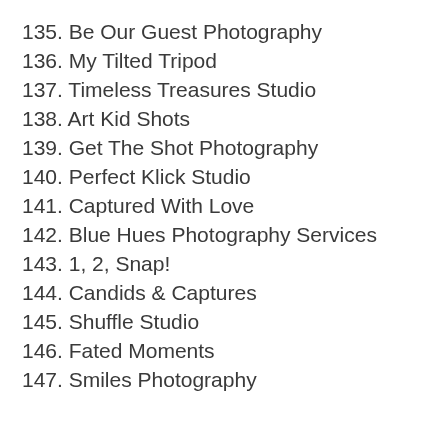135. Be Our Guest Photography
136. My Tilted Tripod
137. Timeless Treasures Studio
138. Art Kid Shots
139. Get The Shot Photography
140. Perfect Klick Studio
141. Captured With Love
142. Blue Hues Photography Services
143. 1, 2, Snap!
144. Candids & Captures
145. Shuffle Studio
146. Fated Moments
147. Smiles Photography